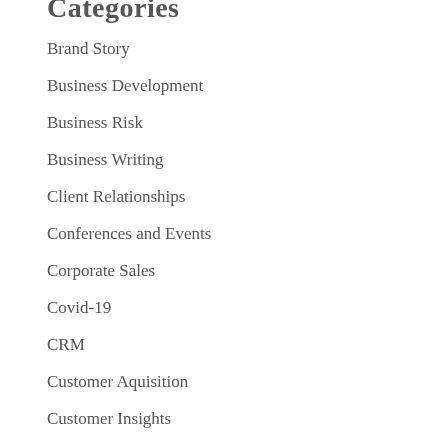Categories
Brand Story
Business Development
Business Risk
Business Writing
Client Relationships
Conferences and Events
Corporate Sales
Covid-19
CRM
Customer Aquisition
Customer Insights
Customer Relationship Management
Customer Relationships